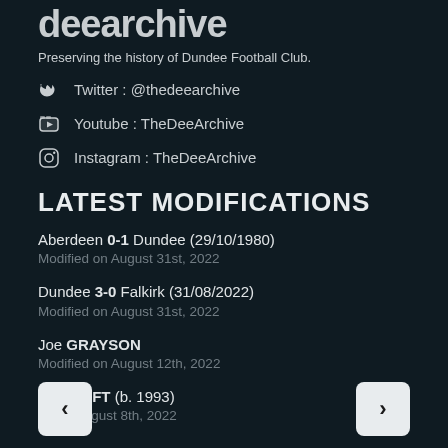deearchive
Preserving the history of Dundee Football Club.
Twitter : @thedeearchive
Youtube : TheDeeArchive
Instagram : TheDeeArchive
LATEST MODIFICATIONS
Aberdeen 0-1 Dundee (29/10/1980)
Modified on August 31st, 2022
Dundee 3-0 Falkirk (31/08/2022)
Modified on August 31st, 2022
Joe GRAYSON
Modified on August 12th, 2022
SHCROFT (b. 1993)
ed on August 8th, 2022